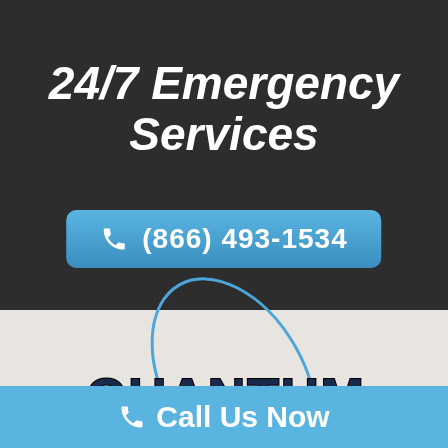[Figure (logo): Hamburger menu icon with three blue horizontal lines on dark background]
24/7 Emergency Services
(866) 493-1534
[Figure (logo): Quantum Restoration company logo with stylized orbit ring around the O in Restoration, dark blue text on light gray background]
Call Us Now